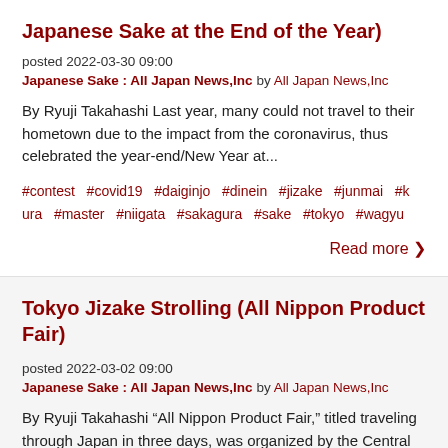Japanese Sake at the End of the Year)
posted 2022-03-30 09:00
Japanese Sake : All Japan News,Inc by All Japan News,Inc
By Ryuji Takahashi Last year, many could not travel to their hometown due to the impact from the coronavirus, thus celebrated the year-end/New Year at...
#contest #covid19 #daiginjo #dinein #jizake #junmai #kura #master #niigata #sakagura #sake #tokyo #wagyu
Read more >
Tokyo Jizake Strolling (All Nippon Product Fair)
posted 2022-03-02 09:00
Japanese Sake : All Japan News,Inc by All Japan News,Inc
By Ryuji Takahashi “All Nippon Product Fair,” titled traveling through Japan in three days, was organized by the Central Federation of Societies of Co...
#kura #contest #niigata #All Nippon #jizake #sake #junmai